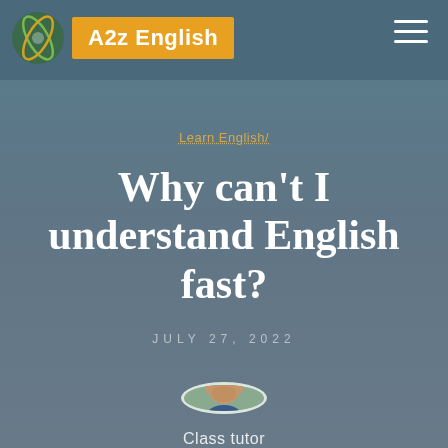A2z English
Learn English/
Why can't I understand English fast?
JULY 27, 2022
[Figure (photo): Circular avatar photo of Class tutor]
Class tutor